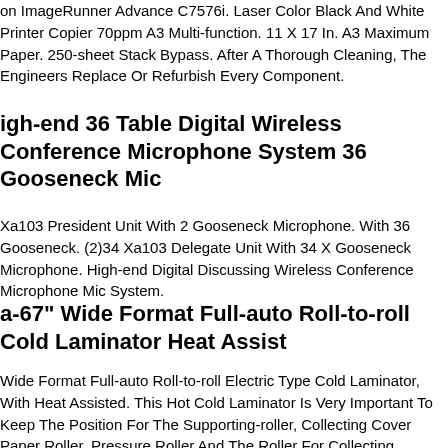on ImageRunner Advance C7576i. Laser Color Black And White Printer Copier 70ppm A3 Multi-function. 11 X 17 In. A3 Maximum Paper. 250-sheet Stack Bypass. After A Thorough Cleaning, The Engineers Replace Or Refurbish Every Component.
High-end 36 Table Digital Wireless Conference Microphone System 36 Gooseneck Mic
Xa103 President Unit With 2 Gooseneck Microphone. With 36 Gooseneck. (2)34 Xa103 Delegate Unit With 34 X Gooseneck Microphone. High-end Digital Discussing Wireless Conference Microphone Mic System.
a-67" Wide Format Full-auto Roll-to-roll Cold Laminator Heat Assist
Wide Format Full-auto Roll-to-roll Electric Type Cold Laminator, With Heat Assisted. This Hot Cold Laminator Is Very Important To Keep The Position For The Supporting-roller, Collecting Cover Paper Roller, Support Pressure Roller And The Roller For Collecting Picture.